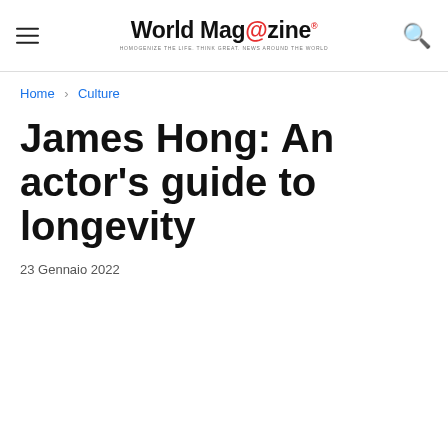World Mag@zine — HOMOGENIZE THE LIFE. THINK GREAT. NEWS AROUND THE WORLD
Home › Culture
James Hong: An actor's guide to longevity
23 Gennaio 2022